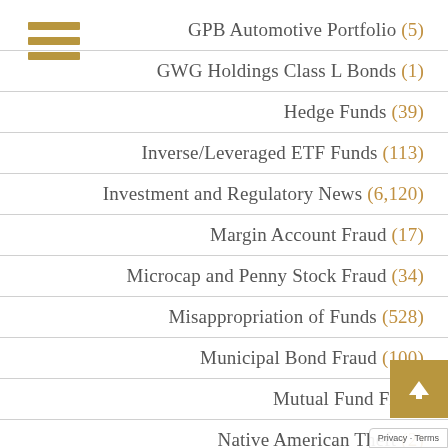GPB Automotive Portfolio (5)
GWG Holdings Class L Bonds (1)
Hedge Funds (39)
Inverse/Leveraged ETF Funds (113)
Investment and Regulatory News (6,120)
Margin Account Fraud (17)
Microcap and Penny Stock Fraud (34)
Misappropriation of Funds (528)
Municipal Bond Fraud (100)
Mutual Fund Fraud
Native American Theft (2)